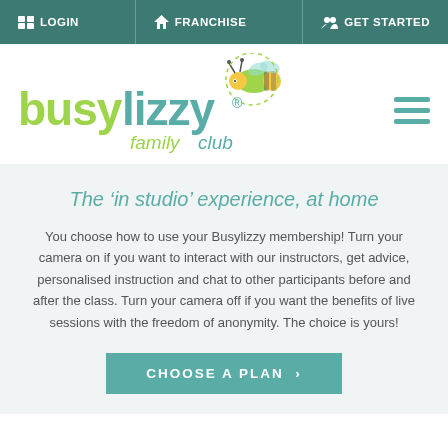LOGIN | FRANCHISE | GET STARTED
[Figure (logo): Busylizzy family club logo with bee illustration]
The 'in studio' experience, at home
You choose how to use your Busylizzy membership! Turn your camera on if you want to interact with our instructors, get advice, personalised instruction and chat to other participants before and after the class. Turn your camera off if you want the benefits of live sessions with the freedom of anonymity. The choice is yours!
CHOOSE A PLAN ›